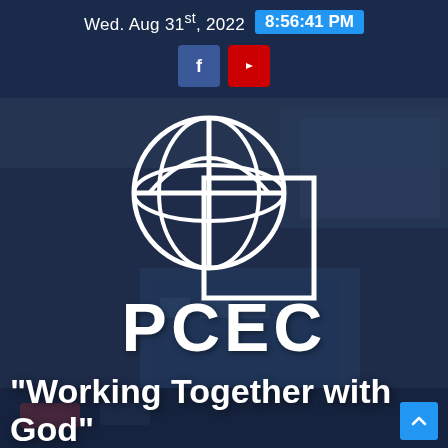Wed. Aug 31st, 2022  8:56:41 PM
[Figure (logo): PCEC organization logo — globe with cross overlaid, white line art, with text PCEC below]
[Figure (photo): Aerial/overhead grayscale photo of a building complex (PCEC facility), blue-tinted overlay]
"Working Together with God"